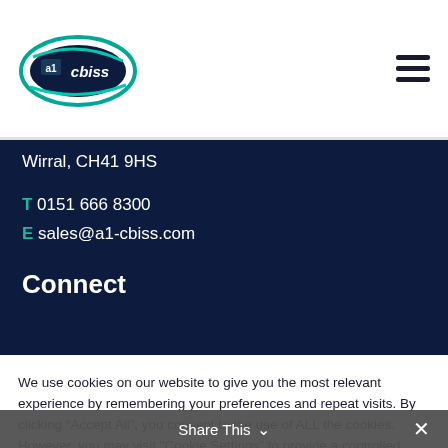[Figure (logo): a1-cbiss company logo, oval shape with teal and navy colors]
Wirral, CH41 9HS
T  0151 666 8300
E  sales@a1-cbiss.com
Connect
We use cookies on our website to give you the most relevant experience by remembering your preferences and repeat visits. By clicking “Accept All”, you consent to the use of ALL the cookies. However, you may visit "Cookie Settings" to provide a controlled consent.
Cookie Settings    Accept All
Share This